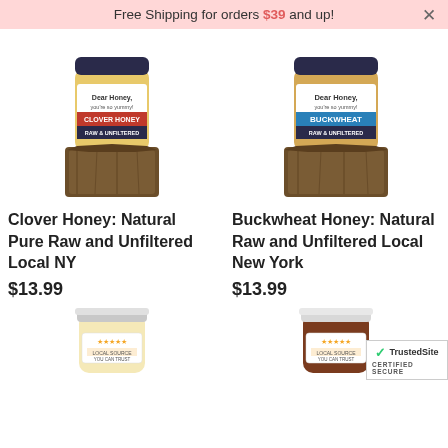Free Shipping for orders $39 and up!
[Figure (photo): Clover Honey jar sitting on a wooden block pedestal, labeled 'Dear Honey, CLOVER HONEY, RAW & UNFILTERED']
Clover Honey: Natural Pure Raw and Unfiltered Local NY
$13.99
[Figure (photo): Buckwheat Honey jar sitting on a wooden block pedestal, labeled 'Dear Honey, BUCKWHEAT, RAW & UNFILTERED']
Buckwheat Honey: Natural Raw and Unfiltered Local New York
$13.99
[Figure (photo): Small mason jar of light-colored honey with star rating label]
[Figure (photo): Small mason jar of dark honey with star rating label]
[Figure (logo): TrustedSite Certified Secure badge]